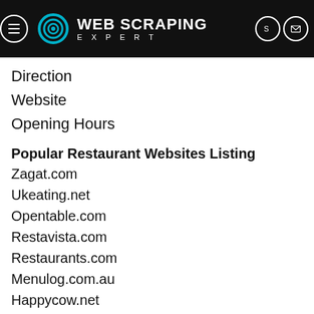WEB SCRAPING EXPERT
Direction
Website
Opening Hours
Popular Restaurant Websites Listing
Zagat.com
Ukeating.net
Opentable.com
Restavista.com
Restaurants.com
Menulog.com.au
Happycow.net
Eater.com
Foodpanda.com
Squaremeal.co.uk
Bookatable.co.uk